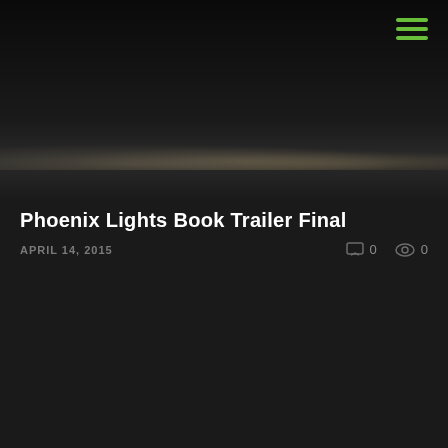[Figure (screenshot): Dark nighttime video thumbnail showing city lights or landscape illuminated from below, very dark background]
Phoenix Lights Book Trailer Final
APRIL 14, 2015   0   0
[Figure (screenshot): Dark video thumbnail with green play button in center, scattered small light dots at bottom, very dark background]